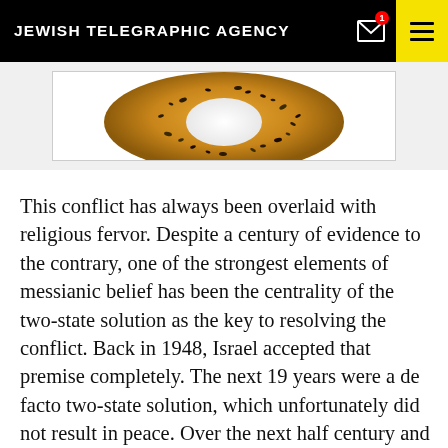JEWISH TELEGRAPHIC AGENCY
[Figure (photo): Partial image of a sesame/poppy seed bagel against a white background with border]
This conflict has always been overlaid with religious fervor. Despite a century of evidence to the contrary, one of the strongest elements of messianic belief has been the centrality of the two-state solution as the key to resolving the conflict. Back in 1948, Israel accepted that premise completely. The next 19 years were a de facto two-state solution, which unfortunately did not result in peace. Over the next half century and despite remarkable diplomatic efforts, unrelenting international pressure and multiple Israeli efforts to